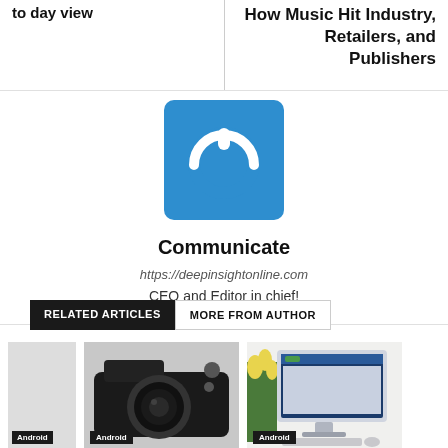Retailers, and Publishers
[Figure (logo): Blue square logo with white power/communicate icon]
Communicate
https://deepinsightonline.com
CEO and Editor in chief!
RELATED ARTICLES  MORE FROM AUTHOR
[Figure (photo): Photo of a Sony camera with lens on white background, Android badge]
Audio Tour App Detour Steers You Away from
[Figure (photo): Photo of an iMac computer with flowers, Android badge]
Mathematica 10 released on Raspberry
Android